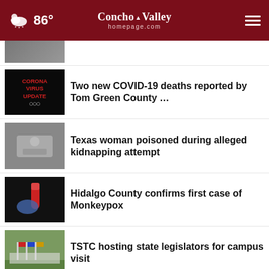86° Concho Valley homepage.com
[Figure (screenshot): Partially visible news thumbnail at top]
Two new COVID-19 deaths reported by Tom Green County …
Texas woman poisoned during alleged kidnapping attempt
Hidalgo County confirms first case of Monkeypox
TSTC hosting state legislators for campus visit
More Stories ›
[Figure (photo): Advertisement: Gray's Transmissions CLICK HERE 655-6614 1202 Pulliam St.]